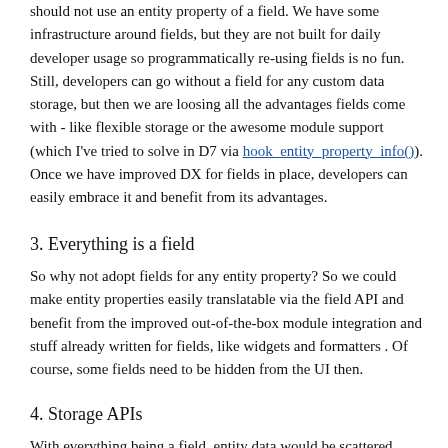should not use an entity property of a field. We have some infrastructure around fields, but they are not built for daily developer usage so programmatically re-using fields is no fun. Still, developers can go without a field for any custom data storage, but then we are loosing all the advantages fields come with - like flexible storage or the awesome module support (which I've tried to solve in D7 via hook_entity_property_info()). Once we have improved DX for fields in place, developers can easily embrace it and benefit from its advantages.
3. Everything is a field
So why not adopt fields for any entity property? So we could make entity properties easily translatable via the field API and benefit from the improved out-of-the-box module integration and stuff already written for fields, like widgets and formatters . Of course, some fields need to be hidden from the UI then.
4. Storage APIs
With everything being a field, entity data would be scattered around in lots of db tables. Also, it should be possible to use the API to register any remote data object as entity. So we need to have entity-storage and field-